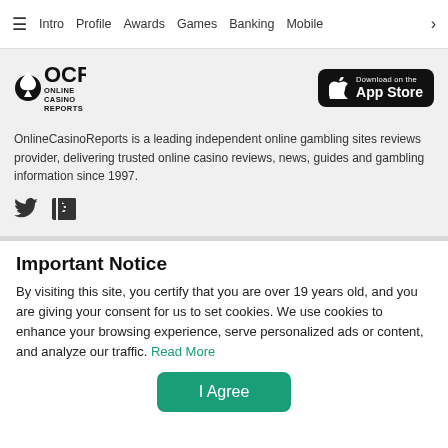≡  Intro  Profile  Awards  Games  Banking  Mobile  >
[Figure (logo): OCR Online Casino Reports logo with spade icon]
[Figure (other): Download on the App Store button]
OnlineCasinoReports is a leading independent online gambling sites reviews provider, delivering trusted online casino reviews, news, guides and gambling information since 1997.
[Figure (other): Twitter and RSS social media icons]
Important Notice
By visiting this site, you certify that you are over 19 years old, and you are giving your consent for us to set cookies. We use cookies to enhance your browsing experience, serve personalized ads or content, and analyze our traffic. Read More